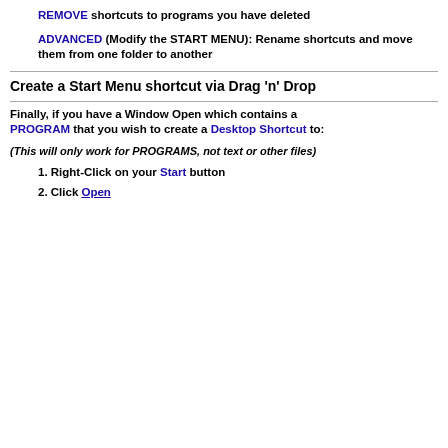REMOVE shortcuts to programs you have deleted
ADVANCED (Modify the START MENU): Rename shortcuts and move them from one folder to another
Create a Start Menu shortcut via Drag 'n' Drop
Finally, if you have a Window Open which contains a PROGRAM that you wish to create a Desktop Shortcut to:
(This will only work for PROGRAMS, not text or other files)
1. Right-Click on your Start button
2. Click Open